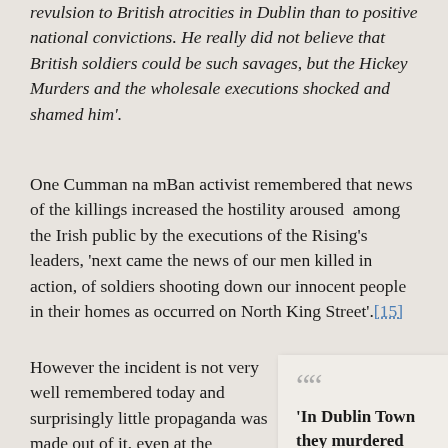revulsion to British atrocities in Dublin than to positive national convictions. He really did not believe that British soldiers could be such savages, but the Hickey Murders and the wholesale executions shocked and shamed him'.
One Cumman na mBan activist remembered that news of the killings increased the hostility aroused among the Irish public by the executions of the Rising's leaders, 'next came the news of our men killed in action, of soldiers shooting down our innocent people in their homes as occurred on North King Street'.[15]
However the incident is not very well remembered today and surprisingly little propaganda was made out of it, even at the
“In Dublin Town they murdered them, Like Dogs they shot them down’, Popular ballad in